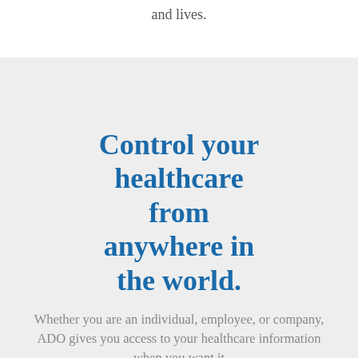and lives.
Control your healthcare from anywhere in the world.
Whether you are an individual, employee, or company, ADO gives you access to your healthcare information when you want it